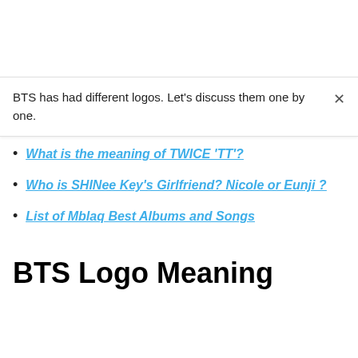BTS has had different logos. Let's discuss them one by one.
What is the meaning of TWICE 'TT'?
Who is SHINee Key's Girlfriend? Nicole or Eunji ?
List of Mblaq Best Albums and Songs
BTS Logo Meaning